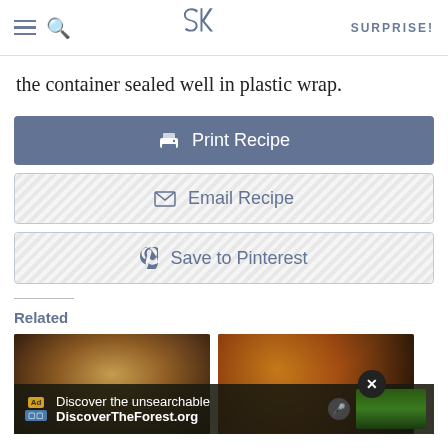SK | SURPRISE!
the container sealed well in plastic wrap.
Print Recipe
Email Recipe
Save to Pinterest
Related
[Figure (photo): Two food photos side by side showing related recipes]
[Figure (photo): Advertisement overlay: Discover the unsearchable - DiscoverTheForest.org]